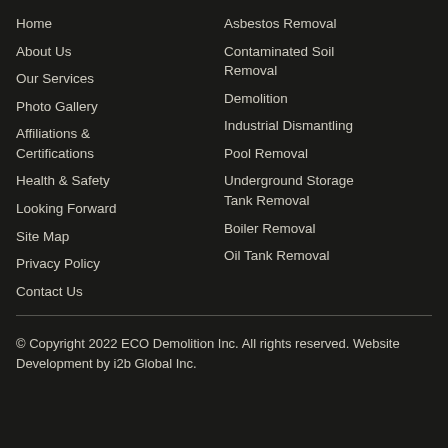Home
About Us
Our Services
Photo Gallery
Affiliations & Certifications
Health & Safety
Looking Forward
Site Map
Privacy Policy
Contact Us
Asbestos Removal
Contaminated Soil Removal
Demolition
Industrial Dismantling
Pool Removal
Underground Storage Tank Removal
Boiler Removal
Oil Tank Removal
© Copyright 2022 ECO Demolition Inc. All rights reserved. Website Development by i2b Global Inc.